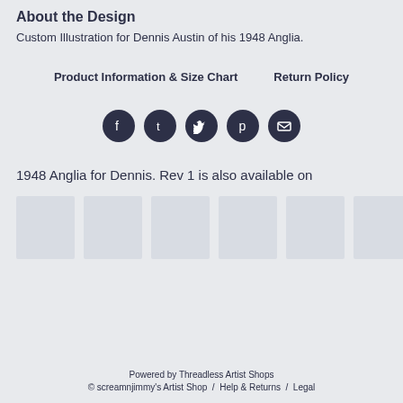About the Design
Custom Illustration for Dennis Austin of his 1948 Anglia.
Product Information & Size Chart
Return Policy
[Figure (infographic): Five circular social media icon buttons: Facebook, Tumblr, Twitter, Pinterest, Email]
1948 Anglia for Dennis. Rev 1 is also available on
[Figure (photo): Six product thumbnail placeholder images shown as light gray rectangles]
Powered by Threadless Artist Shops
© screamnjimmy's Artist Shop / Help & Returns / Legal